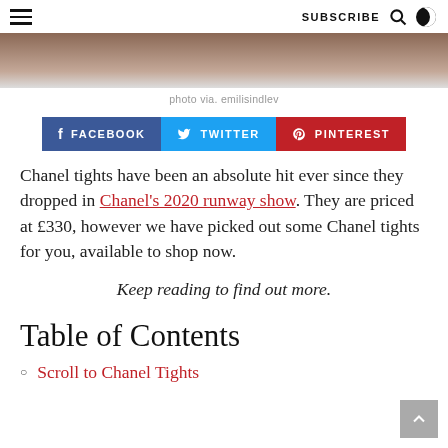SUBSCRIBE
[Figure (photo): Cropped photo strip at top of page]
photo via. emilisindlev
[Figure (infographic): Social share buttons: Facebook, Twitter, Pinterest]
Chanel tights have been an absolute hit ever since they dropped in Chanel's 2020 runway show. They are priced at £330, however we have picked out some Chanel tights for you, available to shop now.
Keep reading to find out more.
Table of Contents
Scroll to Chanel Tights